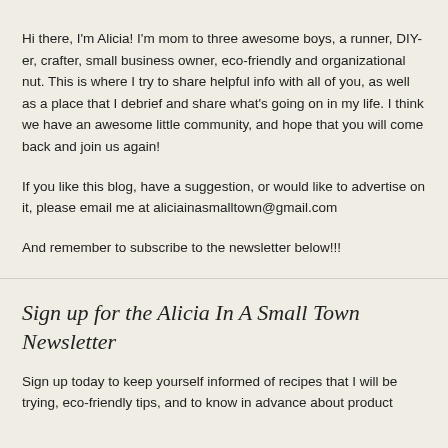Hi there, I'm Alicia! I'm mom to three awesome boys, a runner, DIY-er, crafter, small business owner, eco-friendly and organizational nut. This is where I try to share helpful info with all of you, as well as a place that I debrief and share what's going on in my life. I think we have an awesome little community, and hope that you will come back and join us again!
If you like this blog, have a suggestion, or would like to advertise on it, please email me at aliciainasmalltown@gmail.com
And remember to subscribe to the newsletter below!!!
Sign up for the Alicia In A Small Town Newsletter
Sign up today to keep yourself informed of recipes that I will be trying, eco-friendly tips, and to know in advance about product